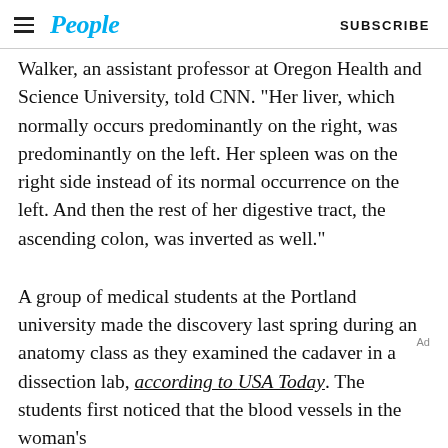People   SUBSCRIBE
Walker, an assistant professor at Oregon Health and Science University, told CNN. “Her liver, which normally occurs predominantly on the right, was predominantly on the left. Her spleen was on the right side instead of its normal occurrence on the left. And then the rest of her digestive tract, the ascending colon, was inverted as well.”
A group of medical students at the Portland university made the discovery last spring during an anatomy class as they examined the cadaver in a dissection lab, according to USA Today. The students first noticed that the blood vessels in the woman’s